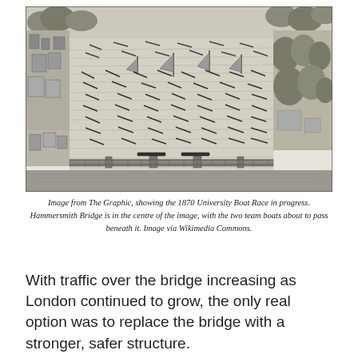[Figure (illustration): Black and white engraving from The Graphic showing an aerial/bird's-eye view of the 1870 University Boat Race on the Thames. Hammersmith Bridge is visible spanning the river in the centre of the image, with two team rowing boats about to pass beneath it. The river is filled with spectator boats and rowing sculls. The riverbanks show trees, buildings, and crowds on both sides.]
Image from The Graphic, showing the 1870 University Boat Race in progress. Hammersmith Bridge is in the centre of the image, with the two team boats about to pass beneath it. Image via Wikimedia Commons.
With traffic over the bridge increasing as London continued to grow, the only real option was to replace the bridge with a stronger, safer structure.